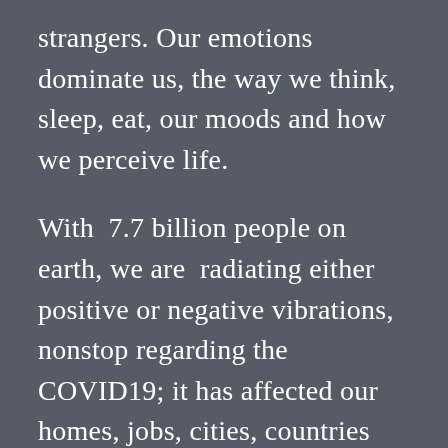strangers. Our emotions dominate us, the way we think, sleep, eat, our moods and how we perceive life.
With 7.7 billion people on earth, we are radiating either positive or negative vibrations, nonstop regarding the COVID19; it has affected our homes, jobs, cities, countries and our world. Our emotions are affected by everything we do, hear and see.